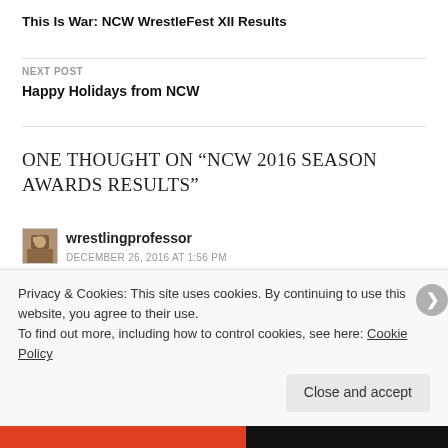This Is War: NCW WrestleFest XII Results
NEXT POST
Happy Holidays from NCW
ONE THOUGHT ON “NCW 2016 SEASON AWARDS RESULTS”
[Figure (photo): Avatar image for user wrestlingprofessor]
wrestlingprofessor
DECEMBER 26, 2016 AT 1:56 PM
Reblogged this on The Wrestling Professor and
Privacy & Cookies: This site uses cookies. By continuing to use this website, you agree to their use.
To find out more, including how to control cookies, see here: Cookie Policy
Close and accept